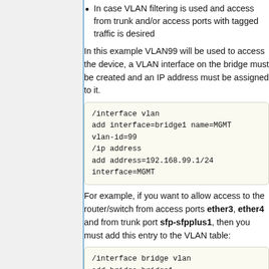In case VLAN filtering is used and access from trunk and/or access ports with tagged traffic is desired
In this example VLAN99 will be used to access the device, a VLAN interface on the bridge must be created and an IP address must be assigned to it.
[Figure (screenshot): Code block: /interface vlan
add interface=bridge1 name=MGMT
vlan-id=99
/ip address
add address=192.168.99.1/24
interface=MGMT]
For example, if you want to allow access to the router/switch from access ports ether3, ether4 and from trunk port sfp-sfpplus1, then you must add this entry to the VLAN table:
[Figure (screenshot): Code block: /interface bridge vlan
add bridge=bridge1
tagged=bridge1,ether3,ether4,sf
  p-sfpplus1,vlan-id=99]